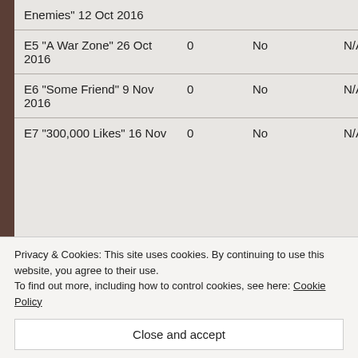| Episode | Count | Yes/No | N/A |
| --- | --- | --- | --- |
| Enemies" 12 Oct 2016 |  |  |  |
| E5 "A War Zone" 26 Oct 2016 | 0 | No | N/A |
| E6 "Some Friend" 9 Nov 2016 | 0 | No | N/A |
| E7 "300,000 Likes" 16 Nov | 0 | No | N/A |
Privacy & Cookies: This site uses cookies. By continuing to use this website, you agree to their use. To find out more, including how to control cookies, see here: Cookie Policy
Close and accept